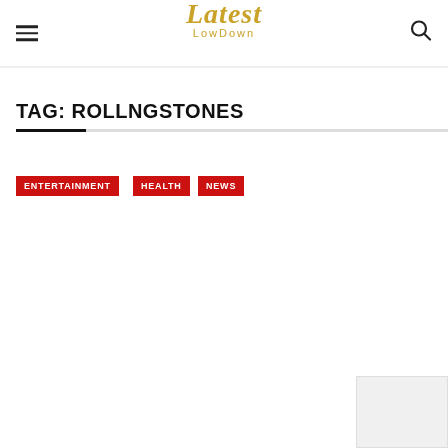Latest LowDown
TAG: ROLLNGSTONES
ENTERTAINMENT
HEALTH
NEWS